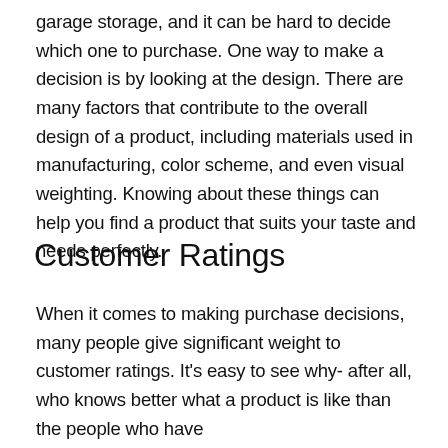garage storage, and it can be hard to decide which one to purchase. One way to make a decision is by looking at the design. There are many factors that contribute to the overall design of a product, including materials used in manufacturing, color scheme, and even visual weighting. Knowing about these things can help you find a product that suits your taste and needs perfectly.
Customer Ratings
When it comes to making purchase decisions, many people give significant weight to customer ratings. It's easy to see why- after all, who knows better what a product is like than the people who have